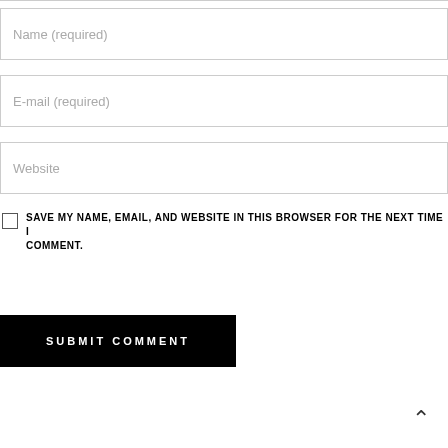Name (required)
E-mail (required)
Website
SAVE MY NAME, EMAIL, AND WEBSITE IN THIS BROWSER FOR THE NEXT TIME I COMMENT.
SUBMIT COMMENT